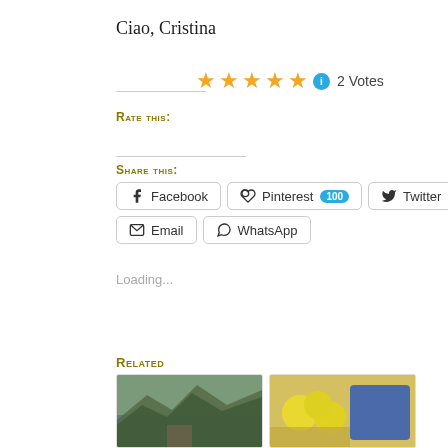Ciao, Cristina
[Figure (infographic): 5 gold star rating icons followed by a blue info icon and '2 Votes' text]
Rate this:
Share this:
[Figure (infographic): Social share buttons: Facebook, Pinterest (100), Twitter, Email, WhatsApp]
Loading...
Related
[Figure (photo): Coastal cliff landscape photo]
[Figure (photo): Lemons and blue container photo]
Tarte
Buon Appo